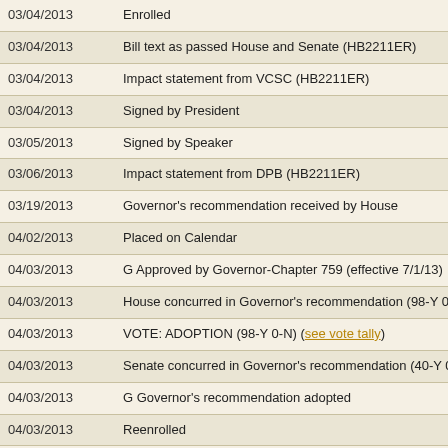| Date | Description |
| --- | --- |
| 03/04/2013 | Enrolled |
| 03/04/2013 | Bill text as passed House and Senate (HB2211ER) |
| 03/04/2013 | Impact statement from VCSC (HB2211ER) |
| 03/04/2013 | Signed by President |
| 03/05/2013 | Signed by Speaker |
| 03/06/2013 | Impact statement from DPB (HB2211ER) |
| 03/19/2013 | Governor's recommendation received by House |
| 04/02/2013 | Placed on Calendar |
| 04/03/2013 | G Approved by Governor-Chapter 759 (effective 7/1/13) |
| 04/03/2013 | House concurred in Governor's recommendation (98-Y 0-N) |
| 04/03/2013 | VOTE: ADOPTION (98-Y 0-N) (see vote tally) |
| 04/03/2013 | Senate concurred in Governor's recommendation (40-Y 0-N) |
| 04/03/2013 | G Governor's recommendation adopted |
| 04/03/2013 | Reenrolled |
| 04/03/2013 | Reenrolled bill text (HB2211ER2) |
| 04/03/2013 | Signed by Speaker as reenrolled |
| 04/03/2013 | Signed by President as reenrolled |
| 04/03/2013 | Enacted, Chapter 759 (effective 7/1/13) |